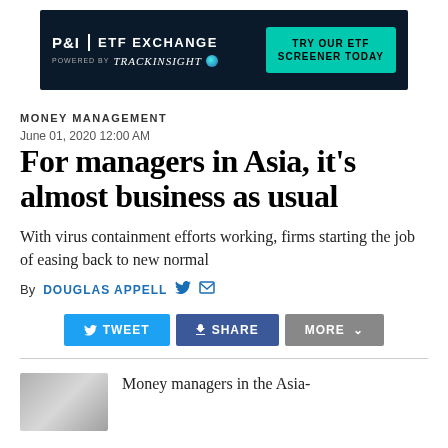[Figure (other): Advertisement banner for P&I ETF Exchange powered by trackinsight, with a call-to-action button 'TRY OUR ETF SCREENER TODAY' on a dark background]
MONEY MANAGEMENT
June 01, 2020 12:00 AM
For managers in Asia, it's almost business as usual
With virus containment efforts working, firms starting the job of easing back to new normal
By DOUGLAS APPELL
[Figure (infographic): Social share buttons: TWEET (blue), SHARE (dark blue), MORE (gray)]
Money managers in the Asia-